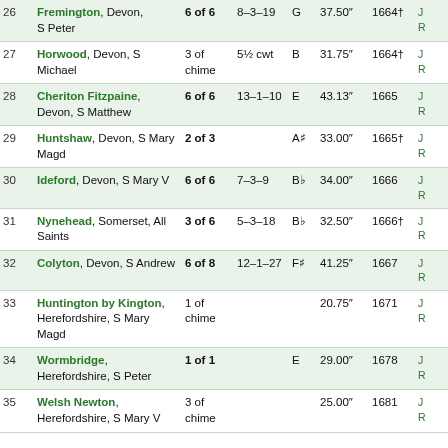| # | Place | Bells | Weight | Note | Diam. | Year |  |
| --- | --- | --- | --- | --- | --- | --- | --- |
| 26 | Fremington, Devon, S Peter | 6 of 6 | 8–3–19 | G | 37.50″ | 1664† | J
R |
| 27 | Horwood, Devon, S Michael | 3 of chime | 5½ cwt | B | 31.75″ | 1664† | J
R |
| 28 | Cheriton Fitzpaine, Devon, S Matthew | 6 of 6 | 13–1–10 | E | 43.13″ | 1665 | J
R |
| 29 | Huntshaw, Devon, S Mary Magd | 2 of 3 |  | A♯ | 33.00″ | 1665† | J
R |
| 30 | Ideford, Devon, S Mary V | 6 of 6 | 7–3–9 | B♭ | 34.00″ | 1666 | J
R |
| 31 | Nynehead, Somerset, All Saints | 3 of 6 | 5–3–18 | B♭ | 32.50″ | 1666† | J
R |
| 32 | Colyton, Devon, S Andrew | 6 of 8 | 12–1–27 | F♯ | 41.25″ | 1667 | J
R |
| 33 | Huntington by Kington, Herefordshire, S Mary Magd | 1 of chime |  |  | 20.75″ | 1671 | J
R |
| 34 | Wormbridge, Herefordshire, S Peter | 1 of 1 |  | E | 29.00″ | 1678 | J
R |
| 35 | Welsh Newton, Herefordshire, S Mary V | 3 of chime |  |  | 25.00″ | 1681 | J
R |